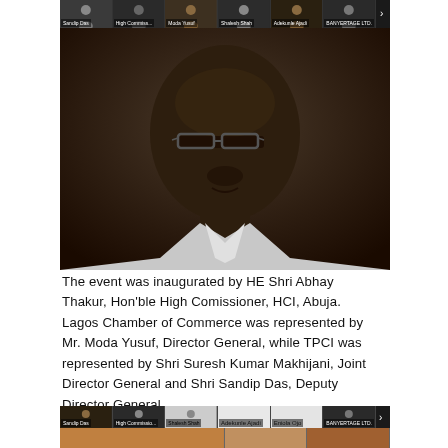[Figure (screenshot): Screenshot of a video conference call showing a main speaker, a Black man wearing glasses and a white shirt, with a grid of participant thumbnails at the top including labels: Sandip Das, High Commiss..., Moda Yusuf, Shalesh Shah, Adekunle Ajadi, BANYERTAGE LTD.]
The event was inaugurated by HE Shri Abhay Thakur, Hon'ble High Comissioner, HCI, Abuja. Lagos Chamber of Commerce was represented by Mr. Moda Yusuf, Director General, while TPCI was represented by Shri Suresh Kumar Makhijani, Joint Director General and Shri Sandip Das, Deputy Director General.
[Figure (screenshot): Screenshot of a video conference call showing a bottom strip of participant thumbnails including: Sandip Das, High Commissio..., Shalesh Shah, Adekunle Ajadi, Eniola Ojo, BANYERTAGE LTD., and below a partial view of a new speaker.]